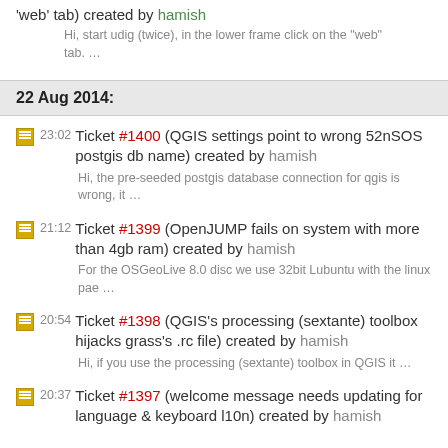'web' tab) created by hamish
Hi, start udig (twice), in the lower frame click on the "web" tab. …
22 Aug 2014:
23:02 Ticket #1400 (QGIS settings point to wrong 52nSOS postgis db name) created by hamish
Hi, the pre-seeded postgis database connection for qgis is wrong, it …
21:12 Ticket #1399 (OpenJUMP fails on system with more than 4gb ram) created by hamish
For the OSGeoLive 8.0 disc we use 32bit Lubuntu with the linux pae …
20:54 Ticket #1398 (QGIS's processing (sextante) toolbox hijacks grass's .rc file) created by hamish
Hi, if you use the processing (sextante) toolbox in QGIS it …
20:37 Ticket #1397 (welcome message needs updating for language & keyboard l10n) created by hamish